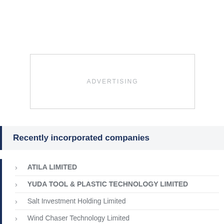[Figure (other): Advertising placeholder box with the word ADVERTISING centered inside a rectangle]
Recently incorporated companies
ATILA LIMITED
YUDA TOOL & PLASTIC TECHNOLOGY LIMITED
Salt Investment Holding Limited
Wind Chaser Technology Limited